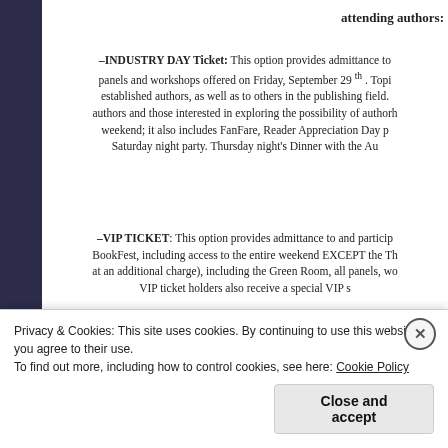attending authors:
–INDUSTRY DAY Ticket: This option provides admittance to panels and workshops offered on Friday, September 29 th . Topi established authors, as well as to others in the publishing field. authors and those interested in exploring the possibility of authorh weekend; it also includes FanFare, Reader Appreciation Day p Saturday night party. Thursday night's Dinner with the Au
–VIP TICKET: This option provides admittance to and particip BookFest, including access to the entire weekend EXCEPT the Th at an additional charge), including the Green Room, all panels, wo VIP ticket holders also receive a special VIP s
–GENERAL ADMISSION TICKET: This option includes access reader workshops and panels on Saturday, the three-hour sign
Privacy & Cookies: This site uses cookies. By continuing to use this website, you agree to their use. To find out more, including how to control cookies, see here: Cookie Policy
Close and accept